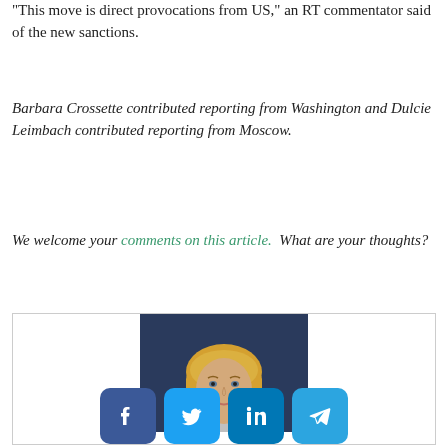"This move is direct provocations from US," an RT commentator said of the new sanctions.
Barbara Crossette contributed reporting from Washington and Dulcie Leimbach contributed reporting from Moscow.
We welcome your comments on this article.  What are your thoughts?
[Figure (photo): Headshot of a blonde woman against a dark blue background, shown from shoulders up, cropped at chin level.]
[Figure (infographic): Social sharing buttons: Facebook, Twitter, LinkedIn, Telegram]